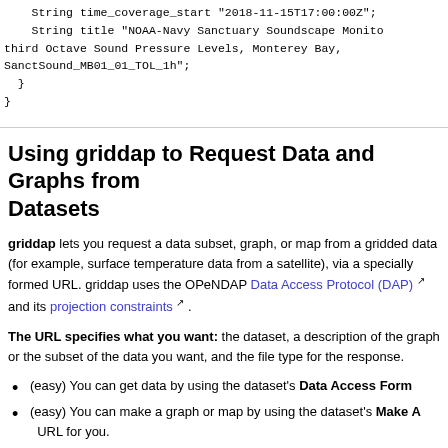String time_coverage_start "2018-11-15T17:00:00Z";
    String title "NOAA-Navy Sanctuary Soundscape Monitoring Project, third Octave Sound Pressure Levels, Monterey Bay, SanctSound_MB01_01_TOL_1h";
  }
}
Using griddap to Request Data and Graphs from Gridded Datasets
griddap lets you request a data subset, graph, or map from a gridded dataset (for example, surface temperature data from a satellite), via a specially formed URL. griddap uses the OPeNDAP Data Access Protocol (DAP) and its projection constraints.
The URL specifies what you want: the dataset, a description of the graph or the subset of the data you want, and the file type for the response.
(easy) You can get data by using the dataset's Data Access Form
(easy) You can make a graph or map by using the dataset's Make A Graph form, which creates the URL for you.
(not hard) You can bypass the forms and get the data or make a graph with a URL by hand with your own constraints.